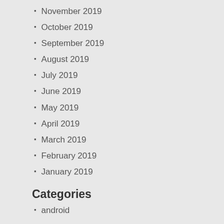November 2019
October 2019
September 2019
August 2019
July 2019
June 2019
May 2019
April 2019
March 2019
February 2019
January 2019
Categories
android
game
mac